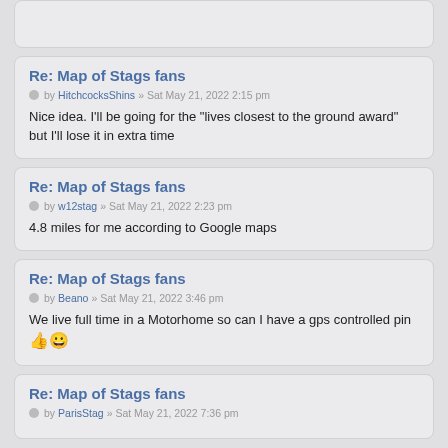Re: Map of Stags fans
by HitchcocksShins » Sat May 21, 2022 2:15 pm
Nice idea. I'll be going for the "lives closest to the ground award" but I'll lose it in extra time
Re: Map of Stags fans
by w12stag » Sat May 21, 2022 2:23 pm
4.8 miles for me according to Google maps
Re: Map of Stags fans
by Beano » Sat May 21, 2022 3:46 pm
We live full time in a Motorhome so can I have a gps controlled pin 👍😀
Re: Map of Stags fans
by ParisStag » Sat May 21, 2022 7:36 pm